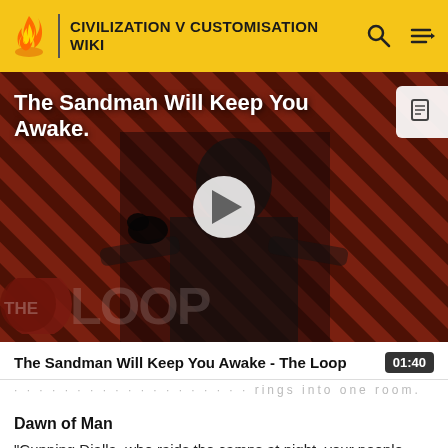CIVILIZATION V CUSTOMISATION WIKI
[Figure (screenshot): Video thumbnail for 'The Sandman Will Keep You Awake - The Loop' showing a figure in black against a red striped background with The Loop logo, play button overlay, and document icon in top right corner.]
The Sandman Will Keep You Awake - The Loop
01:40
..............................rings into one room.
Dawn of Man
"Cunning Djalla, who raids the camps at night, your people